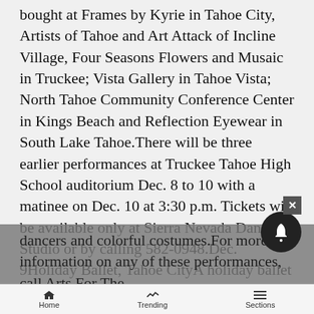bought at Frames by Kyrie in Tahoe City, Artists of Tahoe and Art Attack of Incline Village, Four Seasons Flowers and Musaic in Truckee; Vista Gallery in Tahoe Vista; North Tahoe Community Conference Center in Kings Beach and Reflection Eyewear in South Lake Tahoe.There will be three earlier performances at Truckee Tahoe High School auditorium Dec. 8 to 10 with a matinee on Dec. 10 at 3:30 p.m. Tickets will be available only at Sierra Nevada Dance Studio or by calling 582-0948.Dec. 9Holiday Ballet, Tahoe CityA holiday ballet by Tahoe Dance School, “Come A Caroling and Secrets of the Attic,” will have special performances one day only at 2 p.m. and 7 p.m. at the North Tahoe High School theater. This ballet features original choreography by Dee Dee Terzian with local dancers and colorful costumes.For more information on any of these performances, call Arts For The
Home  Trending  Sections